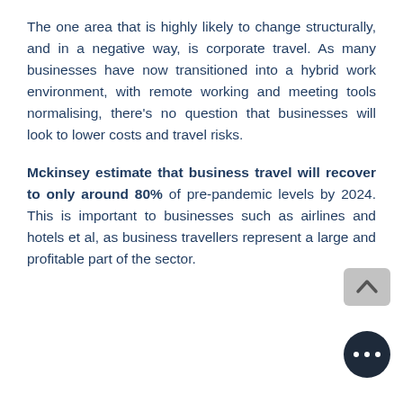The one area that is highly likely to change structurally, and in a negative way, is corporate travel. As many businesses have now transitioned into a hybrid work environment, with remote working and meeting tools normalising, there's no question that businesses will look to lower costs and travel risks.
Mckinsey estimate that business travel will recover to only around 80% of pre-pandemic levels by 2024. This is important to businesses such as airlines and hotels et al, as business travellers represent a large and profitable part of the [travel] sector.